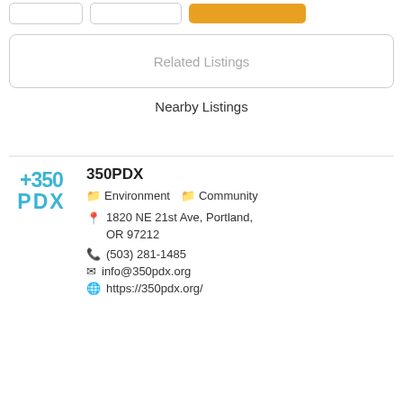Related Listings
Nearby Listings
350PDX
Environment  Community
1820 NE 21st Ave, Portland, OR 97212
(503) 281-1485
info@350pdx.org
https://350pdx.org/